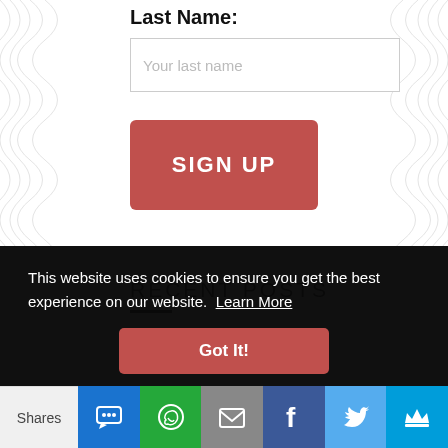Last Name:
Your last name
SIGN UP
RECENT POSTS
This website uses cookies to ensure you get the best experience on our website.  Learn More
Got It!
Shares